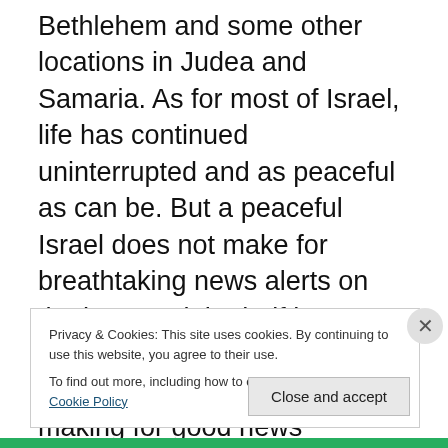Bethlehem and some other locations in Judea and Samaria. As for most of Israel, life has continued uninterrupted and as peaceful as can be. But a peaceful Israel does not make for breathtaking news alerts on the hour and the half hour, only broad rioting wherever the media can see amounts to making for good news reporting. Ask yourself if you saw coverage of rioting in Tel Aviv, Ashkelon, Ashod, Netanya, Herzliya, Ma'alot, Eilat or Akko. Isn't it remarkable that there have been no reports of rioting or violence in all of these Israeli cities, some of the most well known and largest in the little country?
Privacy & Cookies: This site uses cookies. By continuing to use this website, you agree to their use.
To find out more, including how to control cookies, see here: Cookie Policy